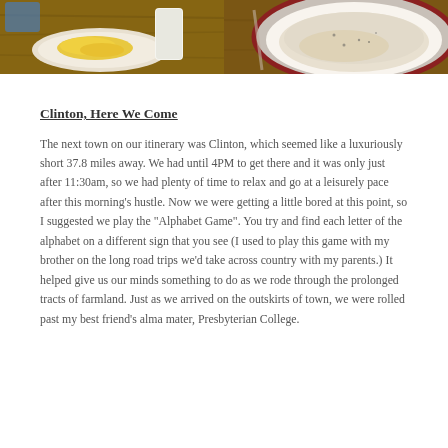[Figure (photo): Two side-by-side food photos: left shows scrambled eggs on a plate with a drink, right shows biscuits and gravy in a bowl]
Clinton, Here We Come
The next town on our itinerary was Clinton, which seemed like a luxuriously short 37.8 miles away. We had until 4PM to get there and it was only just after 11:30am, so we had plenty of time to relax and go at a leisurely pace after this morning's hustle. Now we were getting a little bored at this point, so I suggested we play the “Alphabet Game”. You try and find each letter of the alphabet on a different sign that you see (I used to play this game with my brother on the long road trips we’d take across country with my parents.) It helped give us our minds something to do as we rode through the prolonged tracts of farmland. Just as we arrived on the outskirts of town, we were rolled past my best friend’s alma mater, Presbyterian College.